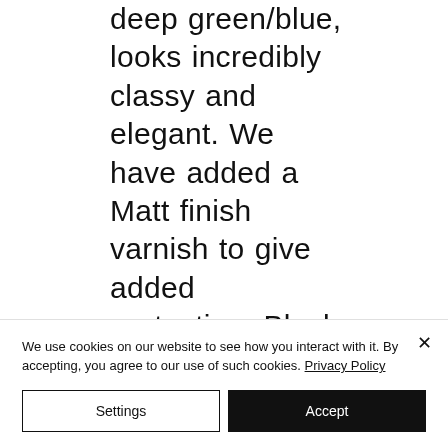deep green/blue, looks incredibly classy and elegant. We have added a Matt finish varnish to give added protection. Black metal leaf on the the feet and the central trim adds real style and drama and looks so striking with the teal and chrome. The black
We use cookies on our website to see how you interact with it. By accepting, you agree to our use of such cookies. Privacy Policy
Settings
Accept